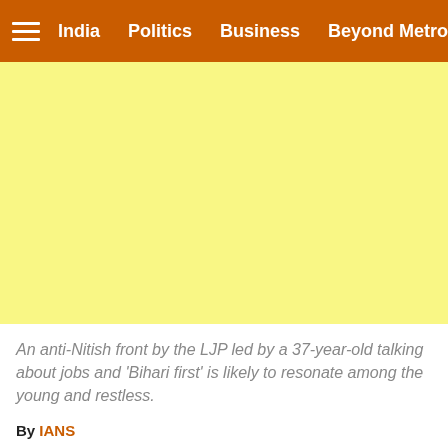India  Politics  Business  Beyond Metros
[Figure (other): Yellow advertisement placeholder block]
An anti-Nitish front by the LJP led by a 37-year-old talking about jobs and 'Bihari first' is likely to resonate among the young and restless.
By IANS